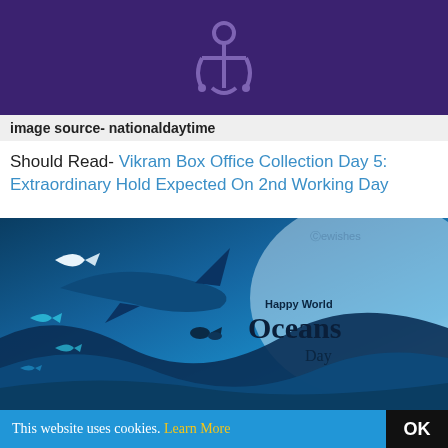[Figure (illustration): Dark purple background with a light purple anchor icon centered at top]
image source- nationaldaytime
Should Read- Vikram Box Office Collection Day 5: Extraordinary Hold Expected On 2nd Working Day
[Figure (illustration): Happy World Oceans Day illustration with fish, shark, and ocean waves in blue tones with ewishes.es watermark]
This website uses cookies. Learn More  OK